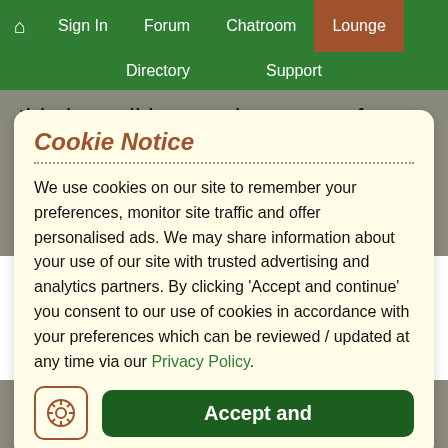Home | Sign In | Forum | Chatroom | Lounge | Directory | Support
this has all been taken care of, you will be able to rest assured that your business will not be destroyed by a single event.
Cookie Notice
We use cookies on our site to remember your preferences, monitor site traffic and offer personalised ads. We may share information about your use of our site with trusted advertising and analytics partners. By clicking 'Accept and continue' you consent to our use of cookies in accordance with your preferences which can be reviewed / updated at any time via our Privacy Policy.
your child. Keep in mind that alleviating some